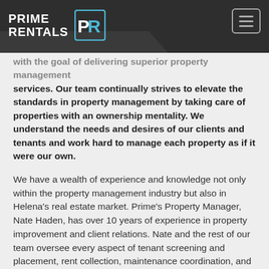PRIME RENTALS
with the goal of delivering superior property management services. Our team continually strives to elevate the standards in property management by taking care of properties with an ownership mentality. We understand the needs and desires of our clients and tenants and work hard to manage each property as if it were our own.
We have a wealth of experience and knowledge not only within the property management industry but also in Helena's real estate market. Prime's Property Manager, Nate Haden, has over 10 years of experience in property improvement and client relations. Nate and the rest of our team oversee every aspect of tenant screening and placement, rent collection, maintenance coordination, and financial reporting. We make every effort to remove the day-to-day worries of owning investment properties so you can just sit back and watch your investment flourish.